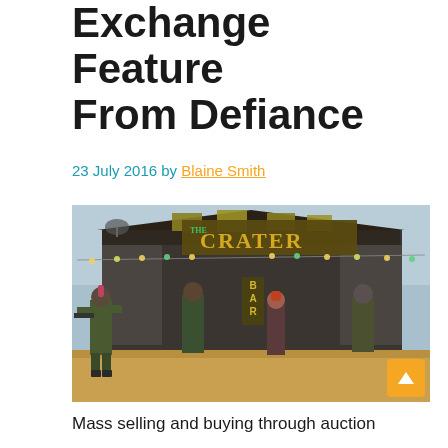Exchange Feature From Defiance
23 July 2016 by Blaine Smith
[Figure (photo): Screenshot from the video game Defiance showing four armored characters standing in combat poses in front of 'The Crater Bar' building]
Mass selling and buying through auction